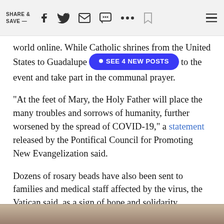SHARE & SAVE —
world online. While Catholic shrines from the United States to Guadalupe [SEE 4 NEW POSTS] to the event and take part in the communal prayer.
"At the feet of Mary, the Holy Father will place the many troubles and sorrows of humanity, further worsened by the spread of COVID-19," a statement released by the Pontifical Council for Promoting New Evangelization said.
Dozens of rosary beads have also been sent to families and medical staff affected by the virus, the Vatican said, as a sign of hope and solidarity.
[Figure (photo): Partial bottom strip of a photo, brownish tones visible at bottom of page]